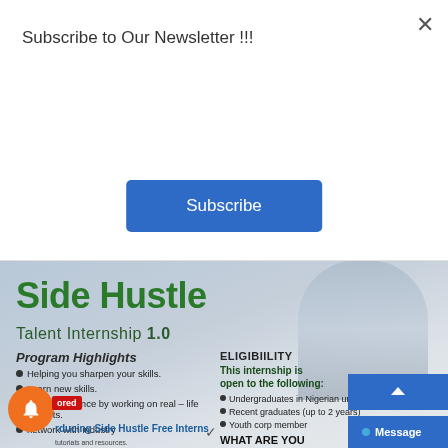Subscribe to Our Newsletter !!!
Subscribe
[Figure (screenshot): Side Hustle Talent Internship 1.0 promotional flyer showing program highlights and eligibility information, with a person in a blue shirt in the background]
Side Hustle
Talent Internship 1.0
Program Highlights
Helping you sharpen your skills.
Learn new skills.
Gain experience by working on real – life projects.
network with industry
ELIGIBIILITY
This internship is open to the following:
Undergraduates in Nigerian universities
Recent graduates (up to 2 years)
Youth corp member
Introducing Side Hustle Free Interns
tutorials and resources.
WHAT ARE YOU
Message